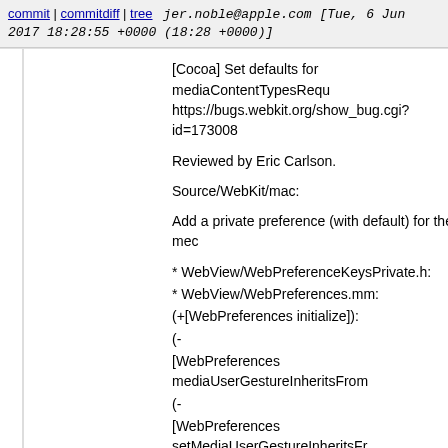commit | commitdiff | tree   jer.noble@apple.com [Tue, 6 Jun 2017 18:28:55 +0000 (18:28 +0000)]
[Cocoa] Set defaults for mediaContentTypesRequ https://bugs.webkit.org/show_bug.cgi?id=173008

Reviewed by Eric Carlson.

Source/WebKit/mac:

Add a private preference (with default) for the mec

* WebView/WebPreferenceKeysPrivate.h:
* WebView/WebPreferences.mm:
(+[WebPreferences initialize]):
(-
[WebPreferences mediaUserGestureInheritsFrom
(-
[WebPreferences setMediaUserGestureInheritsFr
* WebView/WebPreferencesPrivate.h:
* WebView/WebView.mm:
(-[WebView _preferencesChanged:]):

Source/WebKit2:

* UIProcess/API/Cocoa/WKWebViewConfiguration
(-[WKWebViewConfiguration init]):